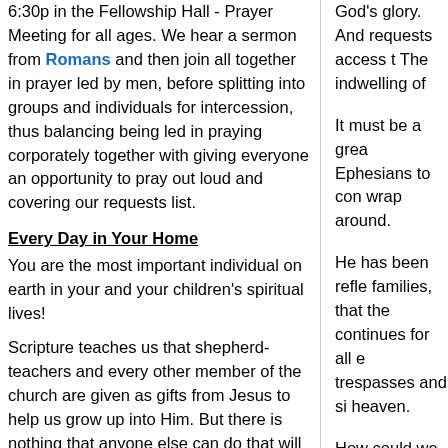6:30p in the Fellowship Hall - Prayer Meeting for all ages. We hear a sermon from Romans and then join all together in prayer led by men, before splitting into groups and individuals for intercession, thus balancing being led in praying corporately together with giving everyone an opportunity to pray out loud and covering our requests list.
Every Day in Your Home
You are the most important individual on earth in your and your children's spiritual lives!
Scripture teaches us that shepherd-teachers and every other member of the church are given as gifts from Jesus to help us grow up into Him. But there is nothing that anyone else can do that will substitute for daily worship of Him, by those means that He has appointed, through which He works in us by His grace.
The Hopewell at Home daily devotional
God's glory. And requests access t The indwelling of
It must be a grea Ephesians to con wrap around.
He has been refle families, that the continues for all e trespasses and si heaven.
How could we co will fill us, continu Holy Spirit had no fullness. It is not t
No wonder, then, And, how much v must come toge
How do we